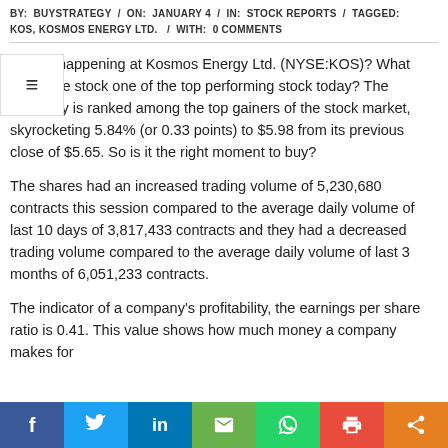BY: BUYSTRATEGY / ON: JANUARY 4 / IN: STOCK REPORTS / TAGGED: KOS, KOSMOS ENERGY LTD. / WITH: 0 COMMENTS
What's happening at Kosmos Energy Ltd. (NYSE:KOS)? What made the stock one of the top performing stock today? The company is ranked among the top gainers of the stock market, skyrocketing 5.84% (or 0.33 points) to $5.98 from its previous close of $5.65. So is it the right moment to buy?
The shares had an increased trading volume of 5,230,680 contracts this session compared to the average daily volume of last 10 days of 3,817,433 contracts and they had a decreased trading volume compared to the average daily volume of last 3 months of 6,051,233 contracts.
The indicator of a company's profitability, the earnings per share ratio is 0.41. This value shows how much money a company makes for